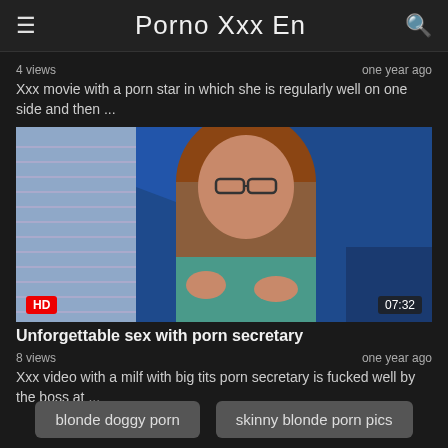Porno Xxx En
4 views
one year ago
Xxx movie with a porn star in which she is regularly well on one side and then ...
[Figure (photo): Video thumbnail of a woman with long brown hair wearing glasses, in a blue-walled room. HD badge bottom-left, 07:32 duration badge bottom-right.]
Unforgettable sex with porn secretary
8 views
one year ago
Xxx video with a milf with big tits porn secretary is fucked well by the boss at ...
blonde doggy porn
skinny blonde porn pics